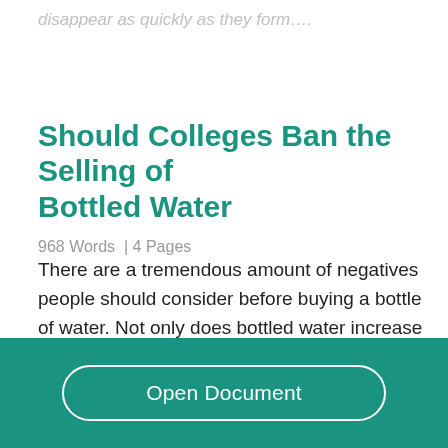disappear as quickly as they form….
Should Colleges Ban the Selling of Bottled Water
968 Words  | 4 Pages
There are a tremendous amount of negatives people should consider before buying a bottle of water. Not only does bottled water increase pollution, but it is a 1000 times more expensive than tap water and also
Open Document